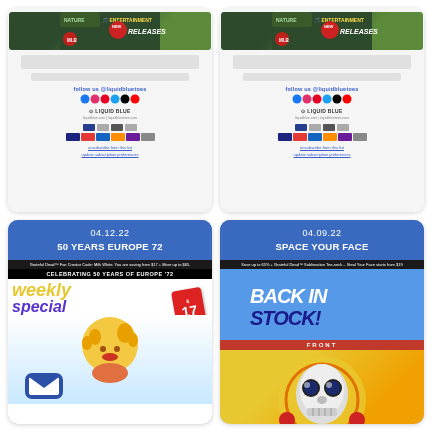[Figure (screenshot): Email newsletter screenshot showing 'NEW RELEASES' banner with nature/entertainment labels, Liquid Blue branding, social media icons, payment icons. Top-left card.]
[Figure (screenshot): Email newsletter screenshot showing 'NEW RELEASES' banner with nature/entertainment labels, Liquid Blue branding, social media icons, payment icons. Top-right card.]
04.12.22
50 YEARS EUROPE 72
[Figure (illustration): Email newsletter image: 'Celebrating 50 Years of Europe 72' header. Weekly Special $17 promotional graphic with cartoon character, mail icon button.]
04.09.22
SPACE YOUR FACE
[Figure (illustration): Email newsletter image: 'Back in Stock!' promo with Grateful Dead Space Your Face skull design. Front label shown.]